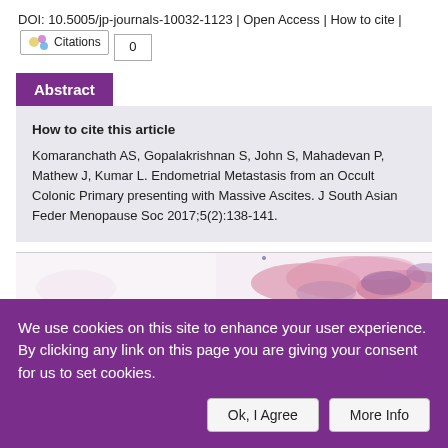DOI: 10.5005/jp-journals-10032-1123 | Open Access | How to cite | Citations 0
Abstract
How to cite this article
Komaranchath AS, Gopalakrishnan S, John S, Mahadevan P, Mathew J, Kumar L. Endometrial Metastasis from an Occult Colonic Primary presenting with Massive Ascites. J South Asian Feder Menopause Soc 2017;5(2):138-141.
[Figure (photo): Histology microscopy image showing tissue sample with pink/purple staining, partial view at bottom of abstract section]
We use cookies on this site to enhance your user experience. By clicking any link on this page you are giving your consent for us to set cookies.